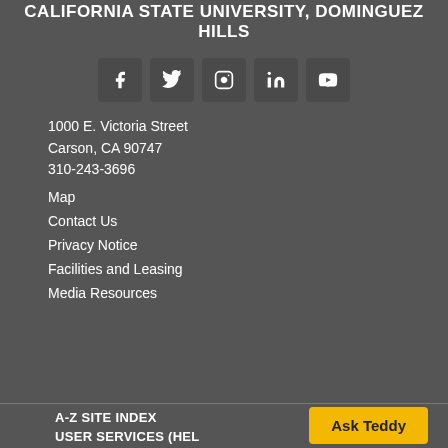CALIFORNIA STATE UNIVERSITY, DOMINGUEZ HILLS
[Figure (infographic): Social media icons: Facebook, Twitter, Instagram, LinkedIn, YouTube]
1000 E. Victoria Street
Carson, CA 90747
310-243-3696
Map
Contact Us
Privacy Notice
Facilities and Leasing
Media Resources
A-Z SITE INDEX
USER SERVICES (HEL...
Ask Teddy